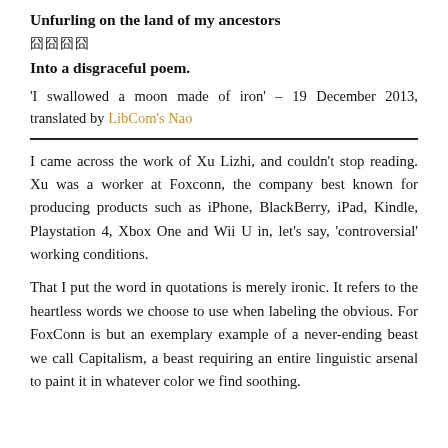Unfurling on the land of my ancestors
囧囧囧囧
Into a disgraceful poem.
'I swallowed a moon made of iron' – 19 December 2013, translated by LibCom's Nao
I came across the work of Xu Lizhi, and couldn't stop reading. Xu was a worker at Foxconn, the company best known for producing products such as iPhone, BlackBerry, iPad, Kindle, Playstation 4, Xbox One and Wii U in, let's say, 'controversial' working conditions.
That I put the word in quotations is merely ironic. It refers to the heartless words we choose to use when labeling the obvious. For FoxConn is but an exemplary example of a never-ending beast we call Capitalism, a beast requiring an entire linguistic arsenal to paint it in whatever color we find soothing.